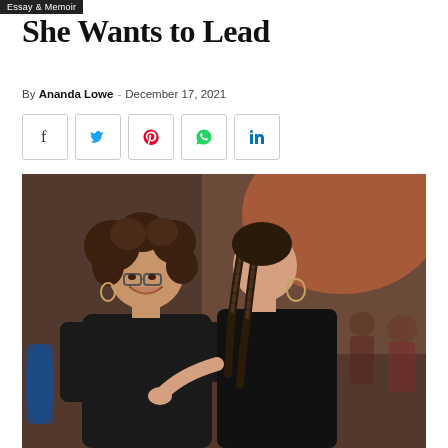Essay & Memoir
She Wants to Lead
By Ananda Lowe - December 17, 2021
[Figure (photo): Two women dancing together, both wearing black. The woman on the left has curly hair and glasses and is smiling broadly; the woman on the right has long braids and hoop earrings. They are in an embrace on a dance floor with other couples dancing in the blurred background.]